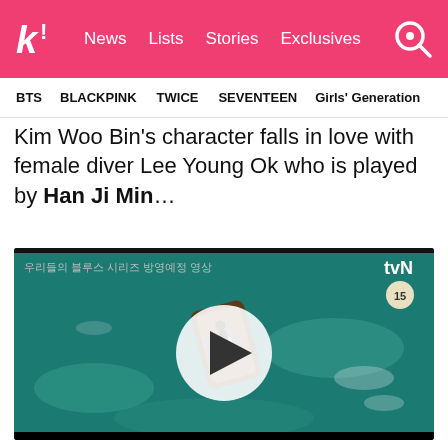k! News Lists Stories Exclusives
BTS BLACKPINK TWICE SEVENTEEN Girls' Generation
Kim Woo Bin's character falls in love with female diver Lee Young Ok who is played by Han Ji Min…
[Figure (screenshot): Video thumbnail showing aerial view of a boat on teal water, with tvN branding, Korean text overlay, rating badge '15', and a play button in the center.]